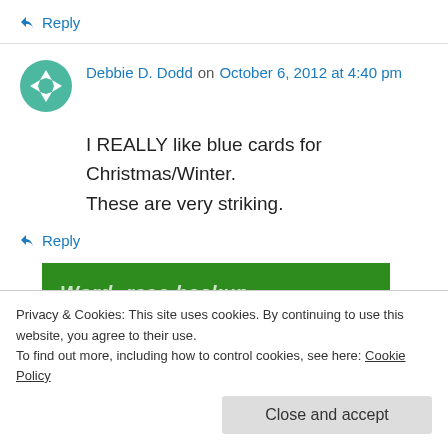↪ Reply
Debbie D. Dodd on October 6, 2012 at 4:40 pm
I REALLY like blue cards for Christmas/Winter. These are very striking.
↪ Reply
[Figure (screenshot): Green banner showing 'Word- rese backup plugin' text on green background]
Privacy & Cookies: This site uses cookies. By continuing to use this website, you agree to their use. To find out more, including how to control cookies, see here: Cookie Policy